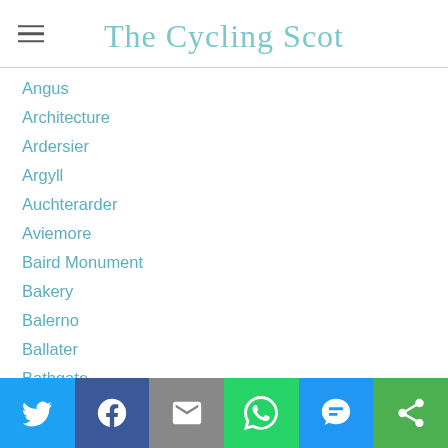The Cycling Scot
Angus
Architecture
Ardersier
Argyll
Auchterarder
Aviemore
Baird Monument
Bakery
Balerno
Ballater
Bathgate
Beach
Bed And Breakfast Reviews
Beer Reviews
Bettyhill Hotel